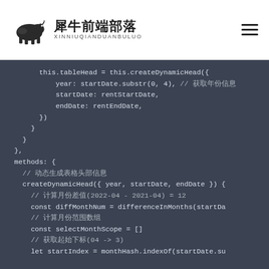犀牛前端部落 XINNIUQIANDUANBULUO
[Figure (screenshot): Code snippet showing JavaScript Vue component data and methods section with createDynamicHead function, showing tableHead assignment with year, startDate, endDate parameters, and methods including createDynamicHead, diffMonthNum, selectMonthScope, startIndex variable declarations with Chinese comments]